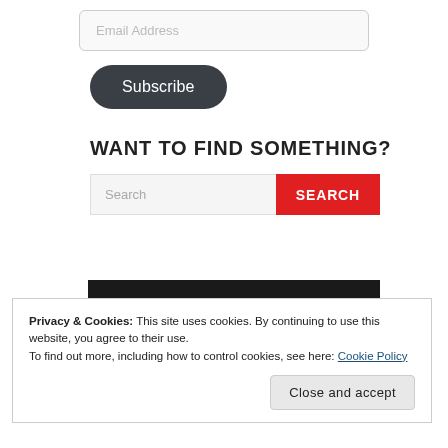Email Address
Subscribe
WANT TO FIND SOMETHING?
Search
SEARCH
[Figure (other): Dark black bar, partial view of a footer or image element]
Privacy & Cookies: This site uses cookies. By continuing to use this website, you agree to their use.
To find out more, including how to control cookies, see here: Cookie Policy
Close and accept